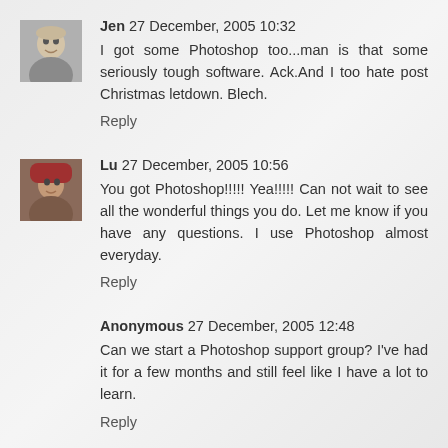[Figure (photo): Avatar photo of Jen - young person with light hair smiling]
Jen 27 December, 2005 10:32
I got some Photoshop too...man is that some seriously tough software. Ack.And I too hate post Christmas letdown. Blech.
Reply
[Figure (photo): Avatar photo of Lu - woman with red head covering]
Lu 27 December, 2005 10:56
You got Photoshop!!!!! Yea!!!!! Can not wait to see all the wonderful things you do. Let me know if you have any questions. I use Photoshop almost everyday.
Reply
Anonymous 27 December, 2005 12:48
Can we start a Photoshop support group? I've had it for a few months and still feel like I have a lot to learn.
Reply